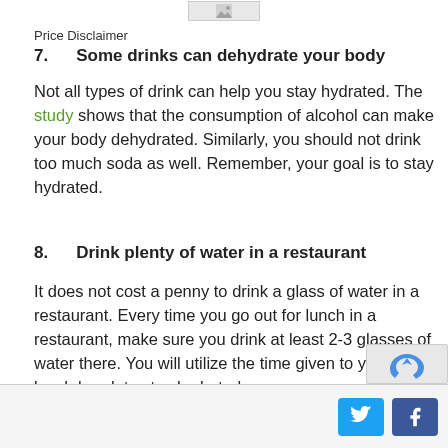[Figure (other): Broken/placeholder image at top of page]
Price Disclaimer
7.   Some drinks can dehydrate your body
Not all types of drink can help you stay hydrated. The study shows that the consumption of alcohol can make your body dehydrated. Similarly, you should not drink too much soda as well. Remember, your goal is to stay hydrated.
8.   Drink plenty of water in a restaurant
It does not cost a penny to drink a glass of water in a restaurant. Every time you go out for lunch in a restaurant, make sure you drink at least 2-3 glasses of water there. You will utilize the time given to you for a lunch break to stay hydrated.